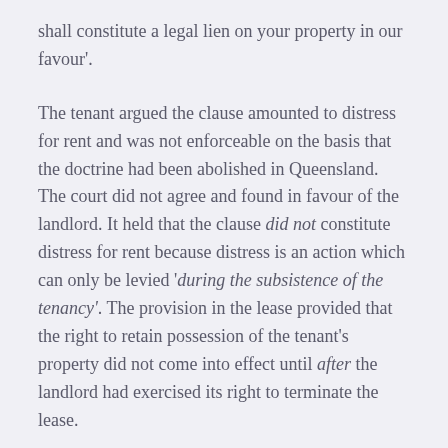shall constitute a legal lien on your property in our favour'.
The tenant argued the clause amounted to distress for rent and was not enforceable on the basis that the doctrine had been abolished in Queensland. The court did not agree and found in favour of the landlord. It held that the clause did not constitute distress for rent because distress is an action which can only be levied 'during the subsistence of the tenancy'. The provision in the lease provided that the right to retain possession of the tenant's property did not come into effect until after the landlord had exercised its right to terminate the lease.